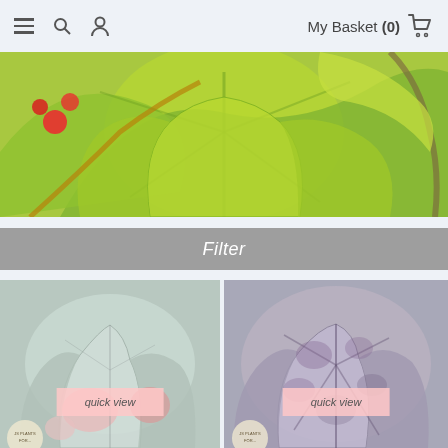My Basket (0)
[Figure (photo): Close-up photo of large bright green lobed leaves with red flowers visible in top-left corner, plant foliage]
Filter
[Figure (photo): Heuchera plant with silver-grey and pink lobed leaves, quick view button overlaid]
[Figure (photo): Heuchera plant with purple-grey mottled lobed leaves, quick view button overlaid]